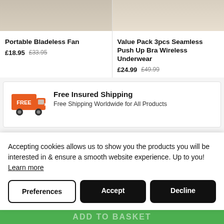[Figure (photo): Product image of Portable Bladeless Fan (partially visible, top cropped)]
Portable Bladeless Fan
£18.95  £33.95
[Figure (photo): Product image of Value Pack 3pcs Seamless Push Up Bra Wireless Underwear (partially visible, top cropped)]
Value Pack 3pcs Seamless Push Up Bra Wireless Underwear
£24.99  £49.99
[Figure (illustration): Orange delivery truck icon with FREE text on the side]
Free Insured Shipping
Free Shipping Worldwide for All Products
Accepting cookies allows us to show you the products you will be interested in & ensure a smooth website experience. Up to you!  Learn more
Preferences
Accept
Decline